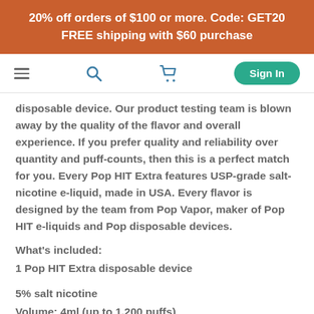20% off orders of $100 or more. Code: GET20
FREE shipping with $60 purchase
[Figure (screenshot): Navigation bar with hamburger menu, search icon, cart icon, and Sign In button]
disposable device. Our product testing team is blown away by the quality of the flavor and overall experience. If you prefer quality and reliability over quantity and puff-counts, then this is a perfect match for you. Every Pop HIT Extra features USP-grade salt-nicotine e-liquid, made in USA. Every flavor is designed by the team from Pop Vapor, maker of Pop HIT e-liquids and Pop disposable devices.
What's included:
1 Pop HIT Extra disposable device
5% salt nicotine
Volume: 4ml (up to 1,200 puffs)
Ingredients:
USP Propylene Glycol